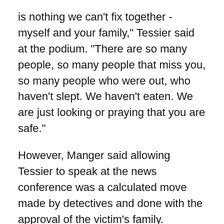is nothing we can't fix together - myself and your family," Tessier said at the podium. "There are so many people, so many people that miss you, so many people who were out, who haven't slept. We haven't eaten. We are just looking or praying that you are safe."
However, Manger said allowing Tessier to speak at the news conference was a calculated move made by detectives and done with the approval of the victim's family.
Manger said Wednesday night he did not know the motive for the killing.
FOX 5 has confirmed through a source close to Wallen that Tessier had been living in Damascus with another woman and was in a relationship with her for years. The source said Wallen had recently found out about